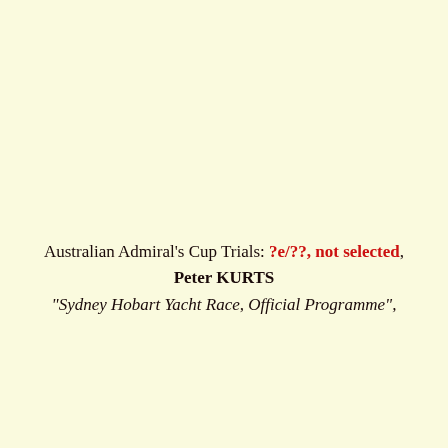Australian Admiral's Cup Trials: ?e/??, not selected, Peter KURTS
"Sydney Hobart Yacht Race, Official Programme",